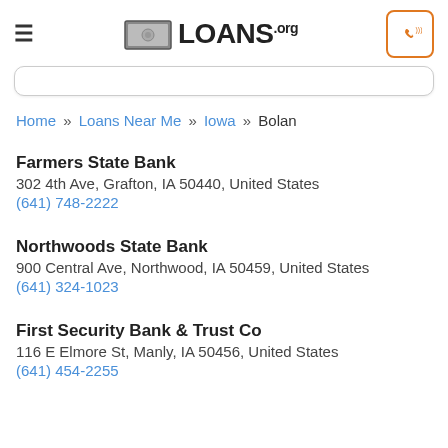LOANS.org
Home » Loans Near Me » Iowa » Bolan
Farmers State Bank
302 4th Ave, Grafton, IA 50440, United States
(641) 748-2222
Northwoods State Bank
900 Central Ave, Northwood, IA 50459, United States
(641) 324-1023
First Security Bank & Trust Co
116 E Elmore St, Manly, IA 50456, United States
(641) 454-2255